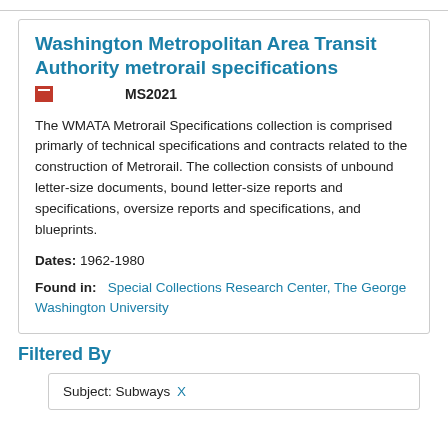Washington Metropolitan Area Transit Authority metrorail specifications
MS2021
The WMATA Metrorail Specifications collection is comprised primarly of technical specifications and contracts related to the construction of Metrorail. The collection consists of unbound letter-size documents, bound letter-size reports and specifications, oversize reports and specifications, and blueprints.
Dates: 1962-1980
Found in: Special Collections Research Center, The George Washington University
Filtered By
Subject: Subways X